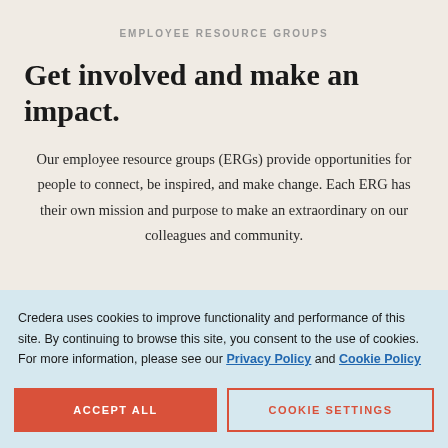EMPLOYEE RESOURCE GROUPS
Get involved and make an impact.
Our employee resource groups (ERGs) provide opportunities for people to connect, be inspired, and make change. Each ERG has their own mission and purpose to make an extraordinary on our colleagues and community.
Credera uses cookies to improve functionality and performance of this site. By continuing to browse this site, you consent to the use of cookies. For more information, please see our Privacy Policy and Cookie Policy
ACCEPT ALL
COOKIE SETTINGS